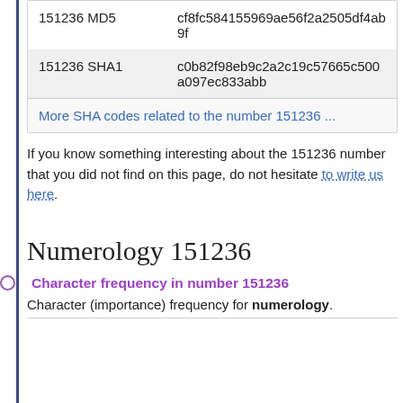|  |  |
| --- | --- |
| 151236 MD5 | cf8fc584155969ae56f2a2505df4ab9f |
| 151236 SHA1 | c0b82f98eb9c2a2c19c57665c500a097ec833abb |
More SHA codes related to the number 151236 ...
If you know something interesting about the 151236 number that you did not find on this page, do not hesitate to write us here.
Numerology 151236
Character frequency in number 151236
Character (importance) frequency for numerology.